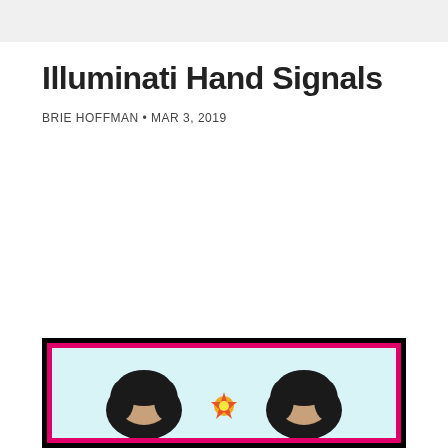Illuminati Hand Signals
BRIE HOFFMAN • MAR 3, 2019
[Figure (photo): Photo inside a black and pink border frame on a light blue background showing two people with dark hair, with a small decorative element between them.]